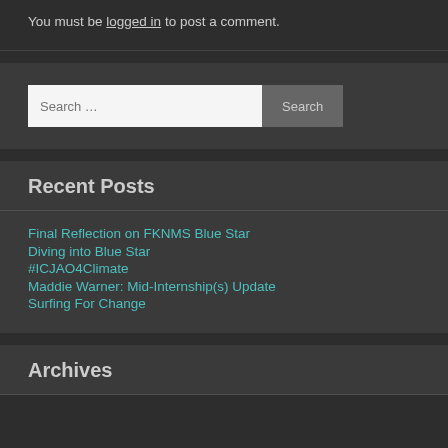You must be logged in to post a comment.
Search …
Recent Posts
Final Reflection on FKNMS Blue Star
Diving into Blue Star
#ICJAO4Climate
Maddie Warner: Mid-Internship(s) Update
Surfing For Change
Archives